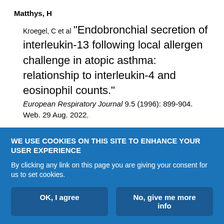Matthys, H
Kroegel, C et al "Endobronchial secretion of interleukin-13 following local allergen challenge in atopic asthma: relationship to interleukin-4 and eosinophil counts." European Respiratory Journal 9.5 (1996): 899-904. Web. 29 Aug. 2022.
McArdle, EK
Thomas, DA et al "The effect of sleep
WE USE COOKIES ON THIS SITE TO ENHANCE YOUR USER EXPERIENCE
By clicking any link on this page you are giving your consent for us to set cookies.
OK, I agree
No, give me more info